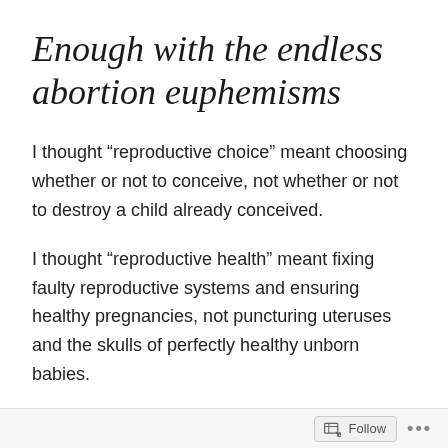Enough with the endless abortion euphemisms
I thought “reproductive choice” meant choosing whether or not to conceive, not whether or not to destroy a child already conceived.
I thought “reproductive health” meant fixing faulty reproductive systems and ensuring healthy pregnancies, not puncturing uteruses and the skulls of perfectly healthy unborn babies.
And how I wish “feminism” meant fighting
Follow •••